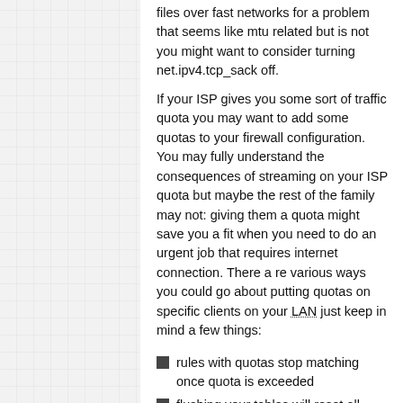files over fast networks for a problem that seems like mtu related but is not you might want to consider turning net.ipv4.tcp_sack off.
If your ISP gives you some sort of traffic quota you may want to add some quotas to your firewall configuration. You may fully understand the consequences of streaming on your ISP quota but maybe the rest of the family may not: giving them a quota might save you a fit when you need to do an urgent job that requires internet connection. There a re various ways you could go about putting quotas on specific clients on your LAN just keep in mind a few things:
rules with quotas stop matching once quota is exceeded
flushing your tables will reset all quota counters
quota counters do not reset themselves whenever your ISP resets your internet quota
Here's an example of how you could go about